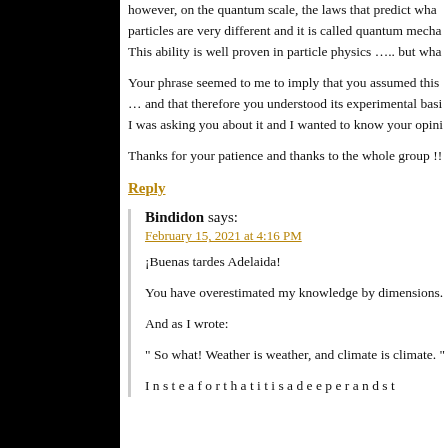however, on the quantum scale, the laws that predict what particles are very different and it is called quantum mecha... This ability is well proven in particle physics ….. but wha...
Your phrase seemed to me to imply that you assumed this … and that therefore you understood its experimental basi... I was asking you about it and I wanted to know your opini...
Thanks for your patience and thanks to the whole group !!
Reply
Bindidon says:
February 15, 2021 at 4:16 PM
¡Buenas tardes Adelaida!
You have overestimated my knowledge by dimensions.
And as I wrote:
" So what! Weather is weather, and climate is climate. "
I was to f... that it i... the r... nce and d...